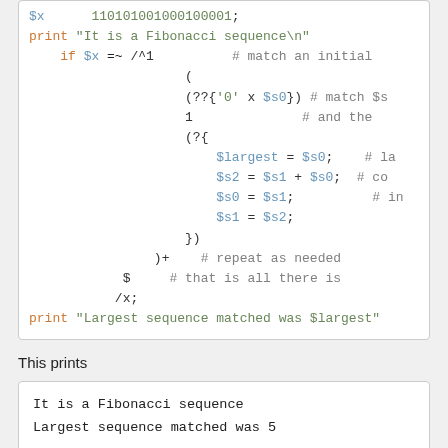[Figure (screenshot): Code block showing Perl code for Fibonacci sequence matching with syntax highlighting (orange keywords, green strings, gray comments, blue variables)]
This prints
[Figure (screenshot): Output box showing: It is a Fibonacci sequence / Largest sequence matched was 5]